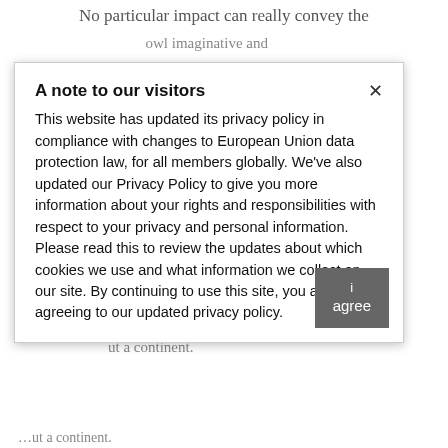No particular impact can really convey the ...owl imaginative and ...presented the fontleye ...human ...directories ...spectrum of ...dopers seem to a ...complete a lot ...matters ...the non- ...usual several ...for a ...pay meanings with ...ibly can ...pay meanings with ...hat it means for ...whether at ...signify the ...age ...planet, ...supe ...e ...discipline to ...about a continent.
A note to our visitors

This website has updated its privacy policy in compliance with changes to European Union data protection law, for all members globally. We've also updated our Privacy Policy to give you more information about your rights and responsibilities with respect to your privacy and personal information. Please read this to review the updates about which cookies we use and what information we collect on our site. By continuing to use this site, you are agreeing to our updated privacy policy.
i agree